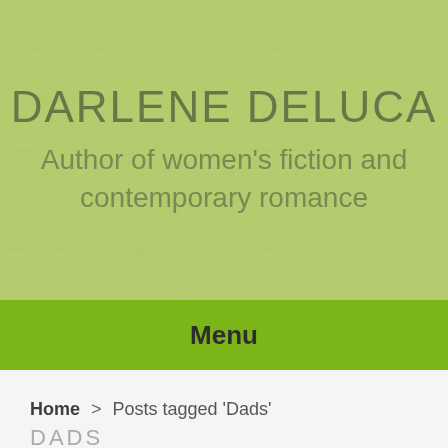DARLENE DELUCA
Author of women's fiction and contemporary romance
Menu
Home > Posts tagged 'Dads'
DADS